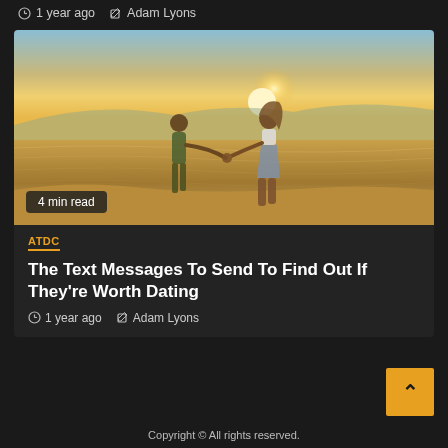1 year ago  Adam Lyons
[Figure (photo): A couple holding hands on a beach at sunset, standing in shallow water with warm golden light behind them. Badge overlay reads '4 min read'.]
4 min read
ATDC
The Text Messages To Send To Find Out If They're Worth Dating
1 year ago  Adam Lyons
Copyright © All rights reserved.